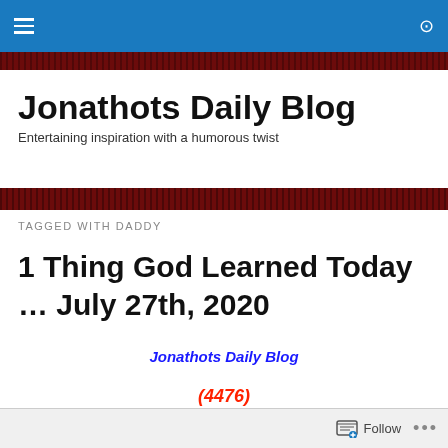Jonathots Daily Blog — navigation bar
Jonathots Daily Blog
Entertaining inspiration with a humorous twist
TAGGED WITH DADDY
1 Thing God Learned Today … July 27th, 2020
Jonathots Daily Blog
(4476)
Follow